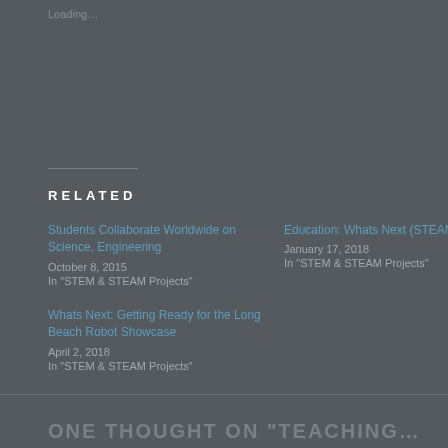Loading…
RELATED
Students Collaborate Worldwide on Science, Engineering
October 8, 2015
In "STEM & STEAM Projects"
Education: Whats Next (STEAM++) ?
January 17, 2018
In "STEM & STEAM Projects"
Whats Next: Getting Ready for the Long Beach Robot Showcase
April 2, 2018
In "STEM & STEAM Projects"
ONE THOUGHT ON "TEACHING…